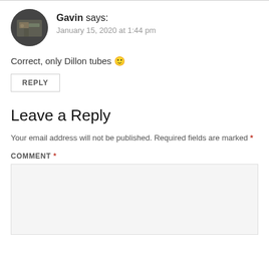[Figure (photo): Circular avatar photo of Gavin, showing a person near a rifle reloading press on a table]
Gavin says:
January 15, 2020 at 1:44 pm
Correct, only Dillon tubes 🙂
REPLY
Leave a Reply
Your email address will not be published. Required fields are marked *
COMMENT *